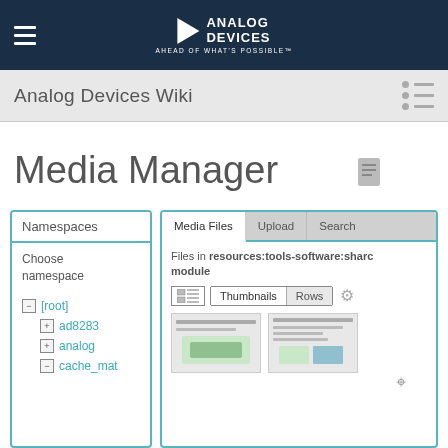Analog Devices — AHEAD OF WHAT'S POSSIBLE™
Analog Devices Wiki
Media Manager
Namespaces
Choose namespace
[root]
ad8283
analog
cache_mat
Media Files | Upload | Search
Files in resources:tools-software:sharc module
Thumbnails  Rows